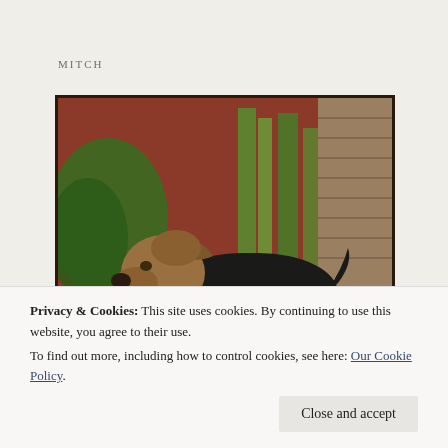MITCH
[Figure (photo): An Airedale Terrier dog standing in a garden/backyard setting, wearing a decorative bandana around its neck, with its mouth open. The background shows tall green plants, a red barn or shed wall, and autumn leaves on the ground.]
Privacy & Cookies: This site uses cookies. By continuing to use this website, you agree to their use.
To find out more, including how to control cookies, see here: Our Cookie Policy
Close and accept